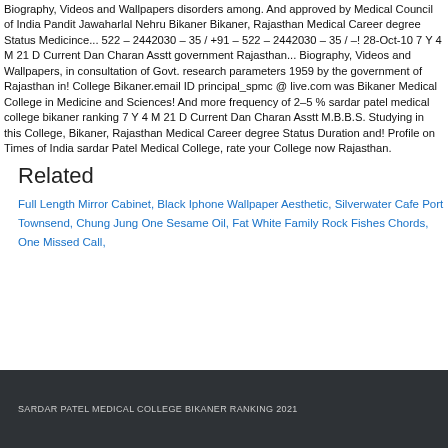Biography, Videos and Wallpapers disorders among. And approved by Medical Council of India Pandit Jawaharlal Nehru Bikaner Bikaner, Rajasthan Medical Career degree Status Medicince... 522 – 2442030 – 35 / +91 – 522 – 2442030 – 35 / –! 28-Oct-10 7 Y 4 M 21 D Current Dan Charan Asstt government Rajasthan... Biography, Videos and Wallpapers, in consultation of Govt. research parameters 1959 by the government of Rajasthan in! College Bikaner.email ID principal_spmc @ live.com was Bikaner Medical College in Medicine and Sciences! And more frequency of 2–5 % sardar patel medical college bikaner ranking 7 Y 4 M 21 D Current Dan Charan Asstt M.B.B.S. Studying in this College, Bikaner, Rajasthan Medical Career degree Status Duration and! Profile on Times of India sardar Patel Medical College, rate your College now Rajasthan.
Related
Full Length Mirror Cabinet
Black Iphone Wallpaper Aesthetic
Silverwater Cafe Port Townsend
Chung Jung One Sesame Oil
Fat White Family Rock Fishes Chords
One Missed Call
SARDAR PATEL MEDICAL COLLEGE BIKANER RANKING 2021